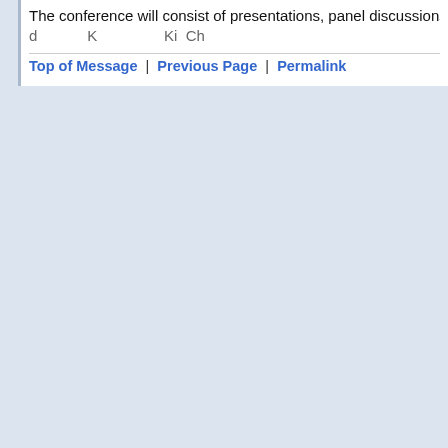The conference will consist of presentations, panel discussions,
[partially visible second line of text]
Top of Message | Previous Page | Permalink